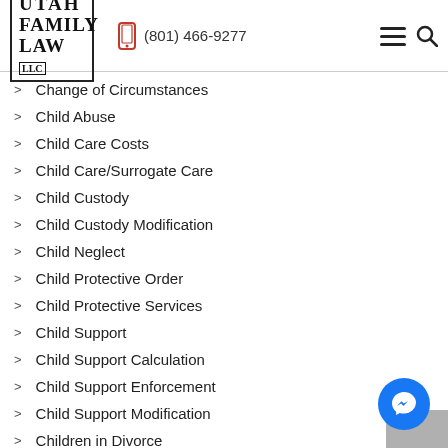[Figure (logo): Utah Family Law LLC logo — text logo in a bordered box]
(801) 466-9277
Change of Circumstances
Child Abuse
Child Care Costs
Child Care/Surrogate Care
Child Custody
Child Custody Modification
Child Neglect
Child Protective Order
Child Protective Services
Child Support
Child Support Calculation
Child Support Enforcement
Child Support Modification
Children in Divorce
Civil Stalking